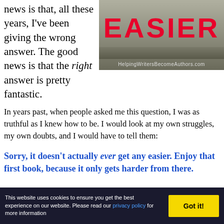news is that, all these years, I've been giving the wrong answer. The good news is that the right answer is pretty fantastic.
[Figure (illustration): Book/blog promotional image with text 'good news: writing does get EASIER' in large red letters on a grey background, with URL HelpingWritersBecomeAuthors.com at bottom]
In years past, when people asked me this question, I was as truthful as I knew how to be. I would look at my own struggles, my own doubts, and I would have to tell them:
Sorry, it doesn't actually ever get any easier. Enjoy that first book, because it only gets harder from there.
This website uses cookies to ensure you get the best experience on our website. Please read our privacy policy for more information